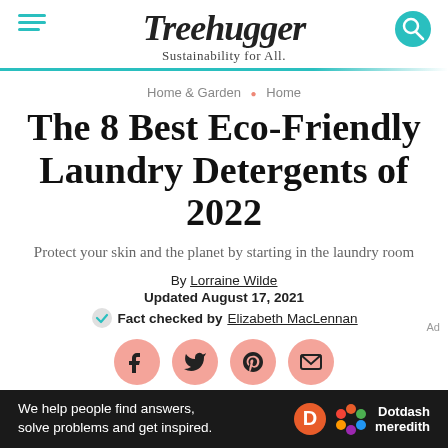Treehugger — Sustainability for All.
Home & Garden • Home
The 8 Best Eco-Friendly Laundry Detergents of 2022
Protect your skin and the planet by starting in the laundry room
By Lorraine Wilde
Updated August 17, 2021
Fact checked by Elizabeth MacLennan
[Figure (infographic): Social sharing icons: Facebook, Twitter, Pinterest, Email in salmon/coral circular buttons]
We help people find answers, solve problems and get inspired. Dotdash meredith